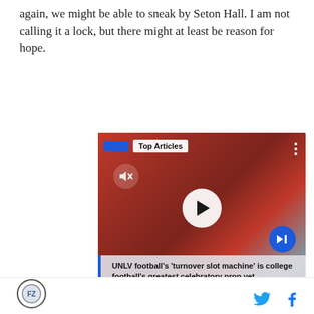again, we might be able to sneak by Seton Hall. I am not calling it a lock, but there might at least be reason for hope.
[Figure (screenshot): Video player screenshot showing football players in red uniforms, with a 'Top Articles' label, play button, mute button, next arrow button, and caption overlay reading: UNLV football’s ‘turnover slot machine’ is college football’s greatest celebratory prop yet]
Joel
Site logo and social sharing icons (Twitter/X and Facebook)